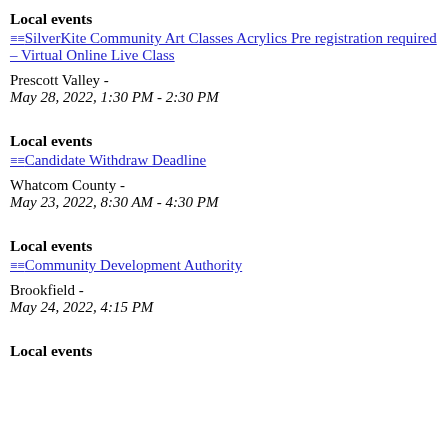Local events
≡≡SilverKite Community Art Classes Acrylics Pre registration required – Virtual Online Live Class
Prescott Valley -
May 28, 2022, 1:30 PM - 2:30 PM
Local events
≡≡Candidate Withdraw Deadline
Whatcom County -
May 23, 2022, 8:30 AM - 4:30 PM
Local events
≡≡Community Development Authority
Brookfield -
May 24, 2022, 4:15 PM
Local events